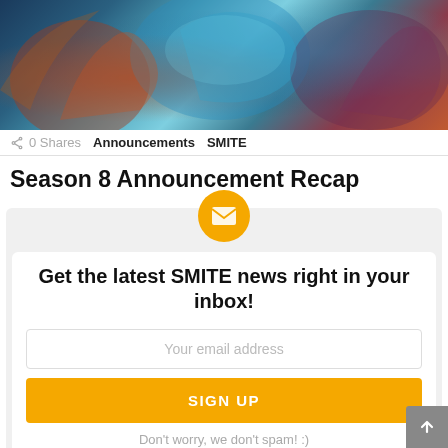[Figure (illustration): SMITE Season 8 artwork banner showing fantasy game characters and creatures in a battle scene with blues, teals, and warm reds/oranges]
0 Shares   Announcements   SMITE
Season 8 Announcement Recap
Get the latest SMITE news right in your inbox!
Your email address
SIGN UP
Don't worry, we don't spam! :)